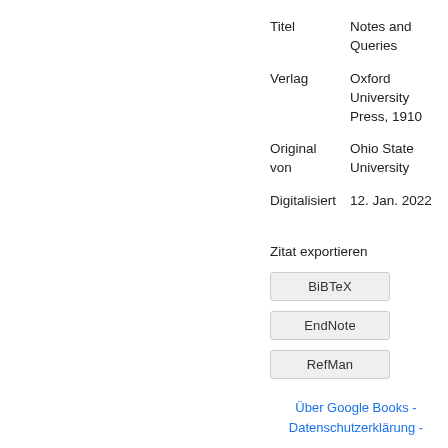| Feld | Wert |
| --- | --- |
| Titel | Notes and Queries |
| Verlag | Oxford University Press, 1910 |
| Original von | Ohio State University |
| Digitalisiert | 12. Jan. 2022 |
Zitat exportieren
[Figure (screenshot): Three export buttons: BiBTeX, EndNote, RefMan]
Über Google Books - Datenschutzerklärung -